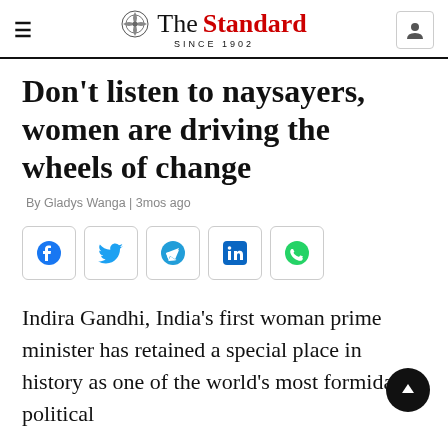The Standard — Since 1902
Don't listen to naysayers, women are driving the wheels of change
By Gladys Wanga | 3mos ago
[Figure (other): Social sharing buttons: Facebook, Twitter, Telegram, LinkedIn, WhatsApp]
Indira Gandhi, India's first woman prime minister has retained a special place in history as one of the world's most formidable political